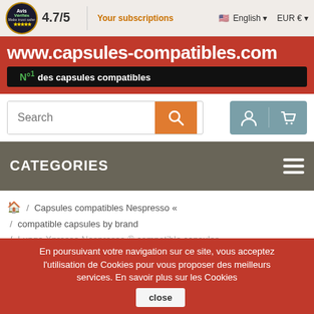4.7/5 | Your subscriptions | English | EUR €
[Figure (logo): www.capsules-compatibles.com red banner with N°1 des capsules compatibles badge]
[Figure (screenshot): Search bar with orange search button]
[Figure (screenshot): User account and cart icons in teal box]
CATEGORIES
/ Capsules compatibles Nespresso « / compatible capsules by brand / Lungo Xpresso Nespresso ® compatible capsules
En poursuivant votre navigation sur ce site, vous acceptez l'utilisation de Cookies pour vous proposer des meilleurs services. En savoir plus sur les Cookies